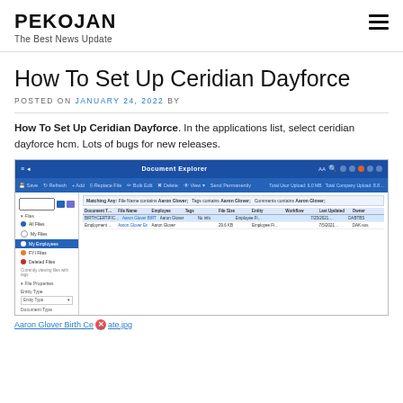PEKOJAN
The Best News Update
How To Set Up Ceridian Dayforce
POSTED ON JANUARY 24, 2022 BY
How To Set Up Ceridian Dayforce. In the applications list, select ceridian dayforce hcm. Lots of bugs for new releases.
[Figure (screenshot): Screenshot of Ceridian Dayforce Document Explorer interface showing a file browser with Aaron Glover's employee documents listed in a table.]
Aaron Glover Birth Ce✕ate.jpg